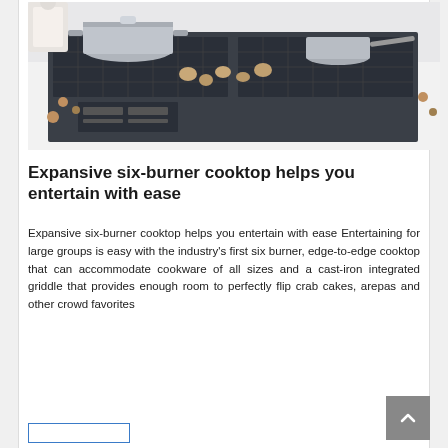[Figure (photo): A gas cooktop with multiple stainless steel pots and pans cooking on it, including a large stockpot with lid and a smaller saucepan. Various food items including what appear to be mushrooms and other ingredients are on the dark cooktop surface. The cooktop has digital controls visible at the front.]
Expansive six-burner cooktop helps you entertain with ease
Expansive six-burner cooktop helps you entertain with ease Entertaining for large groups is easy with the industry's first six burner, edge-to-edge cooktop that can accommodate cookware of all sizes and a cast-iron integrated griddle that provides enough room to perfectly flip crab cakes, arepas and other crowd favorites